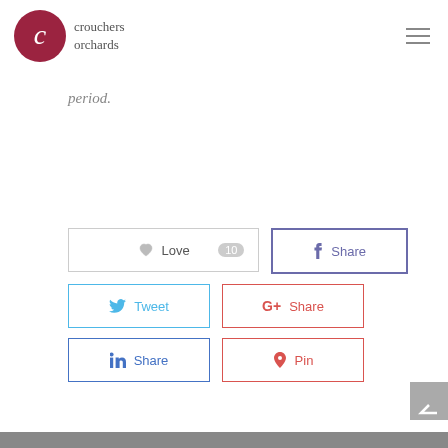crouchers orchards
period.
[Figure (screenshot): Social sharing buttons: Love (with count badge 10), Share (Facebook), Tweet, G+ Share, in Share, Pin]
[Figure (other): Scroll-to-top arrow button and bottom image strip]